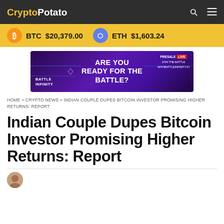CryptoPotato
BTC $20,379.00  ETH $1,603.24
[Figure (illustration): Battle Infinity advertisement banner: purple/violet background with text 'ARE YOU READY FOR THE BATTLE?' and 'BATTLE INFINITY', 'PRESALE LIVE - JOIN THE BATTLE WITH BATTLEINFINITY.IO']
HOME » CRYPTO NEWS » INDIAN COUPLE DUPES BITCOIN INVESTOR PROMISING HIGHER RETURNS: REPORT
Indian Couple Dupes Bitcoin Investor Promising Higher Returns: Report